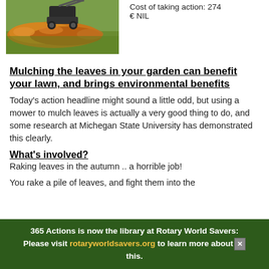[Figure (photo): Photo of a lawn mower mulching autumn leaves on grass]
Cost of taking action: 274 € NIL
Mulching the leaves in your garden can benefit your lawn, and brings environmental benefits
Today's action headline might sound a little odd, but using a mower to mulch leaves is actually a very good thing to do, and some research at Michegan State University has demonstrated this clearly.
What's involved?
Raking leaves in the autumn .. a horrible job!
You rake a pile of leaves, and fight them into the
365 Actions is now the library at Rotary World Savers: Please visit rotaryworldsavers.org to learn more about this.